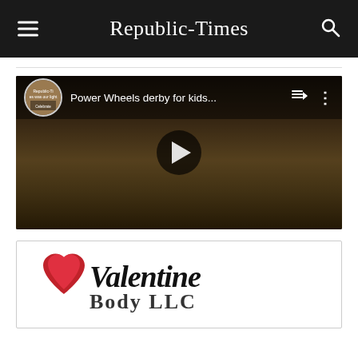Republic-Times
[Figure (screenshot): YouTube embedded video thumbnail showing children riding Power Wheels toy vehicles at an outdoor derby event. Video title reads 'Power Wheels derby for kids...' with a play button in the center.]
[Figure (logo): Valentine Auto Body LLC advertisement logo with a red heart graphic and script lettering]